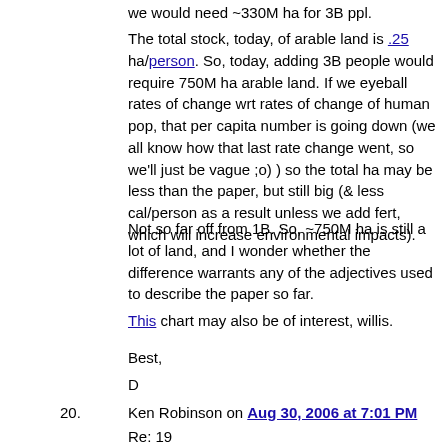we would need ~330M ha for 3B ppl.
The total stock, today, of arable land is .25 ha/person. So, today, adding 3B people would require 750M ha arable land. If we eyeball rates of change wrt rates of change of human pop, that per capita number is going down (we all know how that last rate change went, so we'll just be vague ;o) ) so the total ha may be less than the paper, but still big (& less cal/person as a result unless we add fert, which will increase environmental impacts).
Not so far off from 1B. So, ~750M ha is still a lot of land, and I wonder whether the difference warrants any of the adjectives used to describe the paper so far.
This chart may also be of interest, willis.
Best,
D
20. Ken Robinson on Aug 30, 2006 at 7:01 PM
Re: 19
Dano says “The total stock, today, of arable land is .25 ha/person. So, today, adding 3B people would require 750M ha arable land.”
Using the same logic: the total stock of arable land in 1964 was 0.42 ha / person. Adding 3 billion people should.